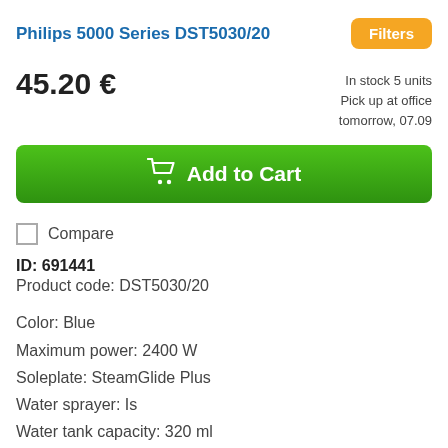Philips 5000 Series DST5030/20
Filters
45.20 €
In stock 5 units
Pick up at office
tomorrow, 07.09
Add to Cart
Compare
ID: 691441
Product code: DST5030/20
Color: Blue
Maximum power: 2400 W
Soleplate: SteamGlide Plus
Water sprayer: Is
Water tank capacity: 320 ml